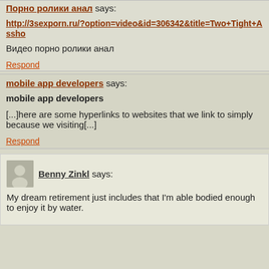Порно ролики анал says:
http://3sexporn.ru/?option=video&id=306342&title=Two+Tight+Assho
Видео порно ролики анал
Respond
mobile app developers says:
mobile app developers
[...]here are some hyperlinks to websites that we link to simply because we visiting[...]
Respond
Benny Zinkl says:
My dream retirement just includes that I'm able bodied enough to enjoy it by water.